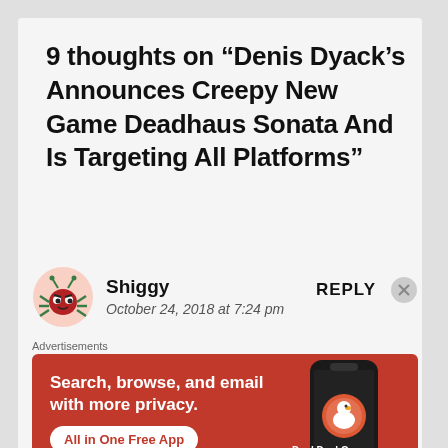9 thoughts on “Denis Dyack’s Announces Creepy New Game Deadhaus Sonata And Is Targeting All Platforms”
[Figure (illustration): Cartoon bug avatar for commenter Shiggy — red round bug with green legs and antennae]
Shiggy
October 24, 2018 at 7:24 pm
REPLY
Advertisements
[Figure (screenshot): DuckDuckGo advertisement on orange-red background. Text: Search, browse, and email with more privacy. All in One Free App. Shows a smartphone with DuckDuckGo logo and wordmark.]